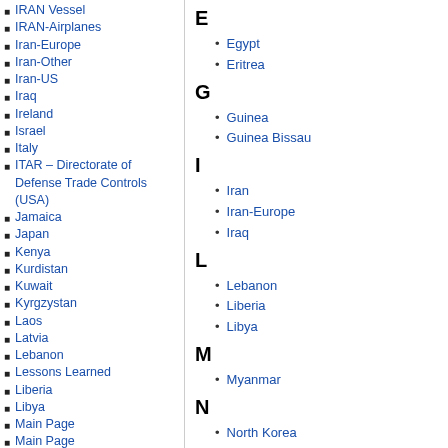IRAN Vessel
IRAN-Airplanes
Iran-Europe
Iran-Other
Iran-US
Iraq
Ireland
Israel
Italy
ITAR – Directorate of Defense Trade Controls (USA)
Jamaica
Japan
Kenya
Kurdistan
Kuwait
Kyrgzystan
Laos
Latvia
Lebanon
Lessons Learned
Liberia
Libya
Main Page
Main Page
Malaysia
Mali
Marine Traffic
Mexico
Moldova
Mongolia
Morocco
Morocco
Myanmar
Myanmar
Namibia
Namibia
E
Egypt
Eritrea
G
Guinea
Guinea Bissau
I
Iran
Iran-Europe
Iraq
L
Lebanon
Liberia
Libya
M
Myanmar
N
North Korea